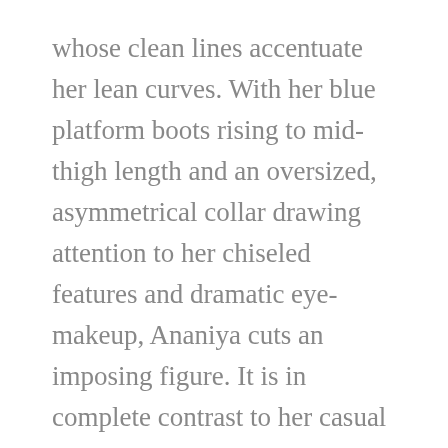whose clean lines accentuate her lean curves. With her blue platform boots rising to mid-thigh length and an oversized, asymmetrical collar drawing attention to her chiseled features and dramatic eye-makeup, Ananiya cuts an imposing figure. It is in complete contrast to her casual style. One of Ananiya's favorite chill outfits is an easy fitting okra green, long-sleeved, hooded jumpsuit, with trimmings to match her orange mid-calf boots.
If you want more stories and art, or to get the first scoop on all the cool stuff